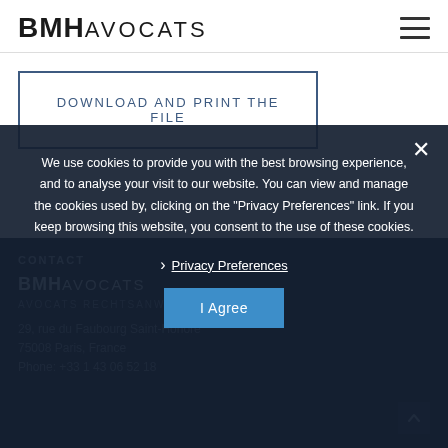[Figure (logo): BMH Avocats logo with bold BMH and thinner AVOCATS text]
DOWNLOAD AND PRINT THE FILE
CONTACT
BMHAVOCATS
AVOCATS RECHTSANWÄLTE LAWYERS
29, rue du Faubourg Saint-Honoré
75008 Paris, France
We use cookies to provide you with the best browsing experience, and to analyse your visit to our website. You can view and manage the cookies used by, clicking on the "Privacy Preferences" link. If you keep browsing this website, you consent to the use of these cookies.
Privacy Preferences
I Agree